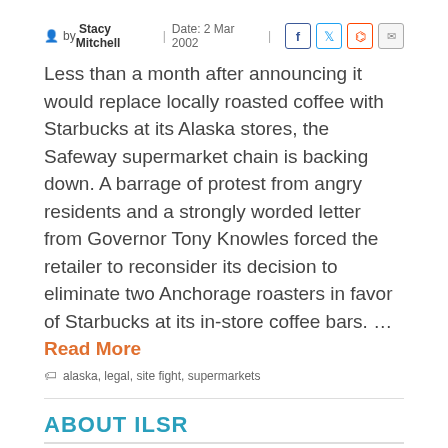by Stacy Mitchell | Date: 2 Mar 2002 |
Less than a month after announcing it would replace locally roasted coffee with Starbucks at its Alaska stores, the Safeway supermarket chain is backing down. A barrage of protest from angry residents and a strongly worded letter from Governor Tony Knowles forced the retailer to reconsider its decision to eliminate two Anchorage roasters in favor of Starbucks at its in-store coffee bars. ... Read More
alaska, legal, site fight, supermarkets
ABOUT ILSR